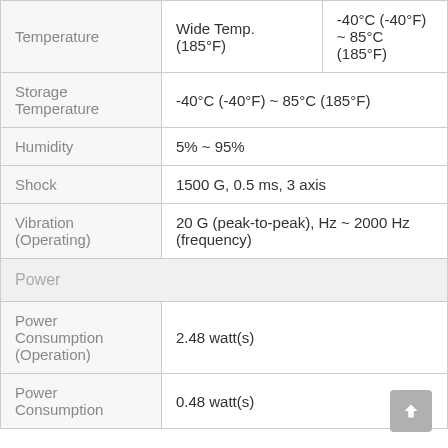| Temperature | Wide Temp. (185°F) | -40°C (-40°F) ~ 85°C (185°F) |
| Storage Temperature | -40°C (-40°F) ~ 85°C (185°F) |  |
| Humidity | 5% ~ 95% |  |
| Shock | 1500 G, 0.5 ms, 3 axis |  |
| Vibration (Operating) | 20 G (peak-to-peak), Hz ~ 2000 Hz (frequency) |  |
| Power |  |  |
| Power Consumption (Operation) | 2.48 watt(s) |  |
| Power Consumption | 0.48 watt(s) |  |